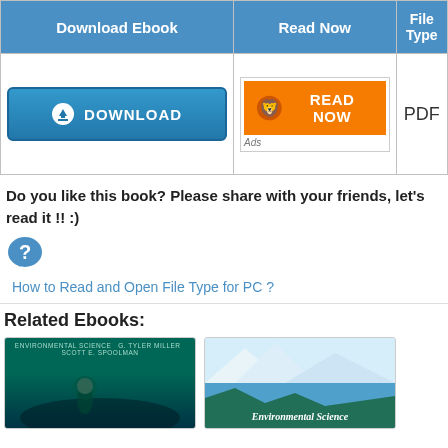| Download Ebook | Read Now | File Type |
| --- | --- | --- |
| [DOWNLOAD button] | [READ NOW button] Ads | PDF |
Do you like this book? Please share with your friends, let's read it !! :)
[Figure (other): Blue speech bubble with question mark icon]
How to Read and Open File Type for PC ?
Related Ebooks:
[Figure (photo): Book cover: Environmental Science with scuba diver underwater]
[Figure (photo): Book cover: Environmental Science Eleventh Edition with glacier/mountain lake]